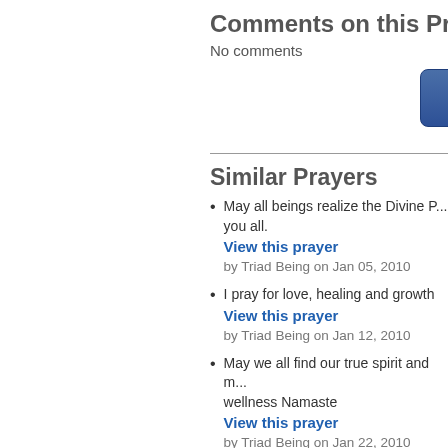Comments on this Praye
No comments
[Figure (other): Blue rounded button labeled 'Add Comment']
Similar Prayers
May all beings realize the Divine P... you all.
View this prayer
by Triad Being on Jan 05, 2010
I pray for love, healing and growth
View this prayer
by Triad Being on Jan 12, 2010
May we all find our true spirit and ... wellness Namaste
View this prayer
by Triad Being on Jan 22, 2010
I wish you all peace and healing th...
View this prayer
by Triad Being on Jan 31, 2010
Please pray for my son and all tho... God heals
View this prayer
by Triad Being on Feb 08, 2010